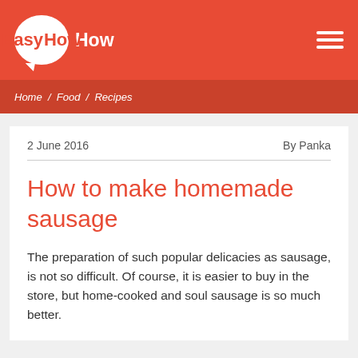EasyHow
Home / Food / Recipes
2 June 2016   By Panka
How to make homemade sausage
The preparation of such popular delicacies as sausage, is not so difficult. Of course, it is easier to buy in the store, but home-cooked and soul sausage is so much better.